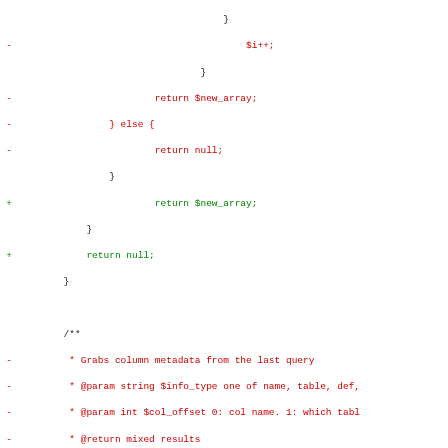[Figure (screenshot): Code diff view showing PHP function changes. Removed lines in red with '-' markers, added lines in green with '+' markers. Shows code for a function get_col_info with updated docblock and function signature.]